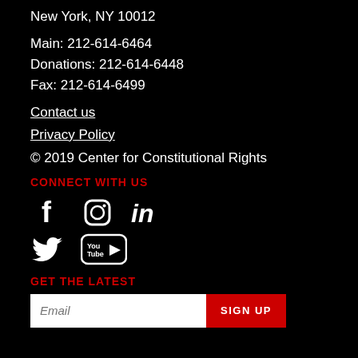New York, NY 10012
Main: 212-614-6464
Donations: 212-614-6448
Fax: 212-614-6499
Contact us
Privacy Policy
© 2019 Center for Constitutional Rights
CONNECT WITH US
[Figure (other): Social media icons: Facebook, Instagram, LinkedIn, Twitter, YouTube]
GET THE LATEST
Email [input field] SIGN UP [button]